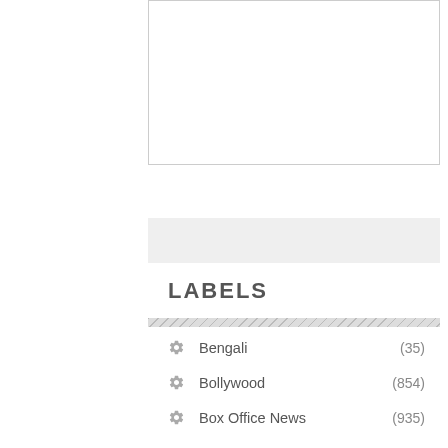[Figure (other): Partial image/screenshot area visible at top right]
LABELS
Bengali (35)
Bollywood (854)
Box Office News (935)
Comparison (54)
Filmography (85)
First Look (457)
Gujarati (6)
Hollywood (171)